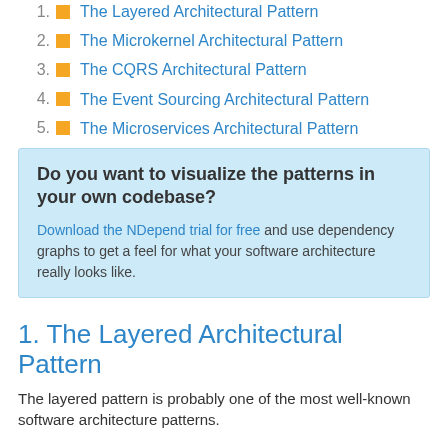1. The Layered Architectural Pattern
2. The Microkernel Architectural Pattern
3. The CQRS Architectural Pattern
4. The Event Sourcing Architectural Pattern
5. The Microservices Architectural Pattern
Do you want to visualize the patterns in your own codebase?

Download the NDepend trial for free and use dependency graphs to get a feel for what your software architecture really looks like.
1. The Layered Architectural Pattern
The layered pattern is probably one of the most well-known software architecture patterns.